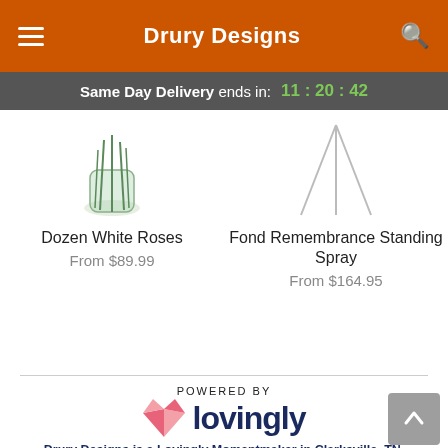Drury Designs
Same Day Delivery ends in: 11:20:42
Dozen White Roses
From $89.99
Fond Remembrance Standing Spray
From $164.95
[Figure (logo): Lovingly logo with pink origami heart icon and dark blue 'lovingly' wordmark, with 'POWERED BY' text above]
Drury Designs is a Lovingly Momentmaker in Clarksville, TN.
Buying local matters. Discover how Lovingly is committed to strengthening relationships by helping local florists market, sell, and deliver their floral designs online.